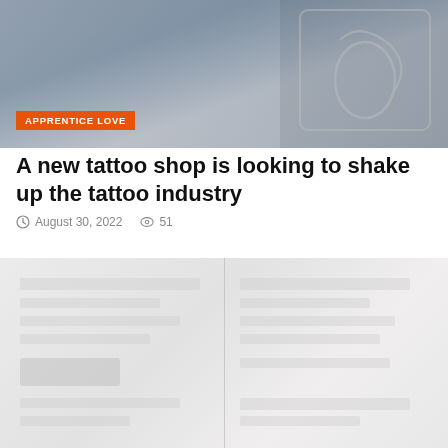[Figure (photo): Blurred photo of a tattoo shop sign or artwork on a dark chalkboard, with a hand partially visible. Orange badge overlay reads APPRENTICE LOVE.]
A new tattoo shop is looking to shake up the tattoo industry
August 30, 2022   51
[Figure (photo): Faded/blurred light grey image, appears to be a partially visible document or webpage content with a vertical dividing line.]